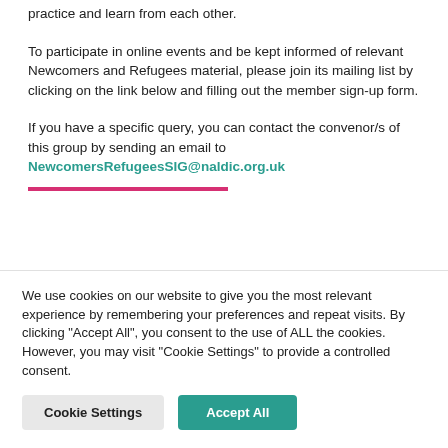practice and learn from each other.
To participate in online events and be kept informed of relevant Newcomers and Refugees material, please join its mailing list by clicking on the link below and filling out the member sign-up form.
If you have a specific query, you can contact the convenor/s of this group by sending an email to NewcomersRefugeesSIG@naldic.org.uk
We use cookies on our website to give you the most relevant experience by remembering your preferences and repeat visits. By clicking "Accept All", you consent to the use of ALL the cookies. However, you may visit "Cookie Settings" to provide a controlled consent.